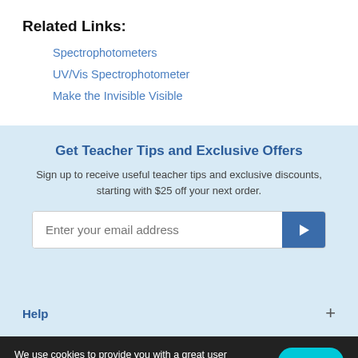Related Links:
Spectrophotometers
UV/Vis Spectrophotometer
Make the Invisible Visible
Get Teacher Tips and Exclusive Offers
Sign up to receive useful teacher tips and exclusive discounts, starting with $25 off your next order.
Enter your email address
Help
We use cookies to provide you with a great user experience. By using our site, you accept our use of cookies. You can review our cookie and privacy policy here.